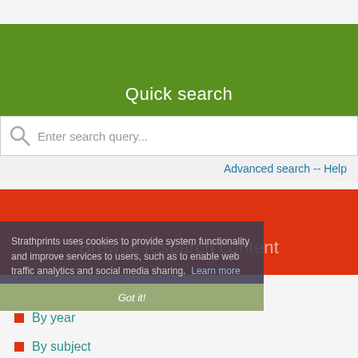Quick search
Enter search query...
Advanced search -- Help
Browse research content
Strathprints uses cookies to provide system functionality and improve services to users, such as to enable web traffic analytics and social media sharing. Learn more
By author or creator
By year
By subject
By department or faculty